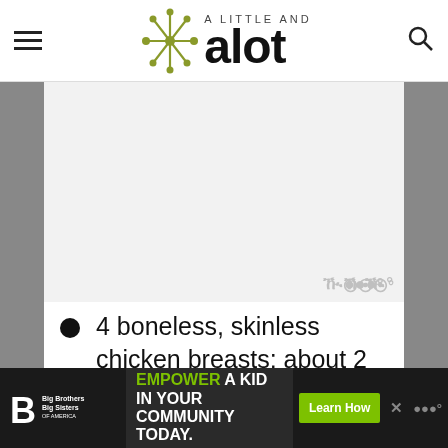a little and a lot — website header with logo, hamburger menu, and search icon
[Figure (screenshot): Advertisement placeholder (gray rectangle) with Mediavine watermark in lower right]
4 boneless, skinless chicken breasts; about 2 lbs total
6 cloves of garlic, minced
[Figure (screenshot): Bottom ad banner: Big Brothers Big Sisters logo, green text EMPOWER A KID IN YOUR COMMUNITY TODAY., Learn How green button, close X, Mediavine logo]